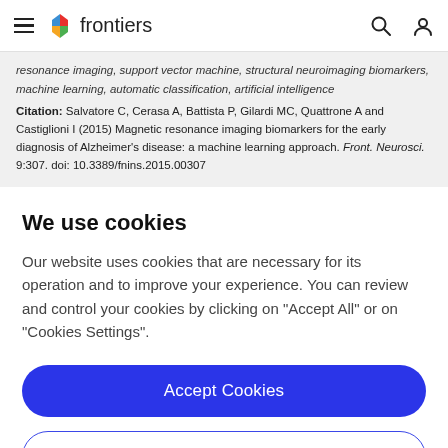frontiers
resonance imaging, support vector machine, structural neuroimaging biomarkers, machine learning, automatic classification, artificial intelligence
Citation: Salvatore C, Cerasa A, Battista P, Gilardi MC, Quattrone A and Castiglioni I (2015) Magnetic resonance imaging biomarkers for the early diagnosis of Alzheimer's disease: a machine learning approach. Front. Neurosci. 9:307. doi: 10.3389/fnins.2015.00307
We use cookies
Our website uses cookies that are necessary for its operation and to improve your experience. You can review and control your cookies by clicking on "Accept All" or on "Cookies Settings".
Accept Cookies
Cookies Settings